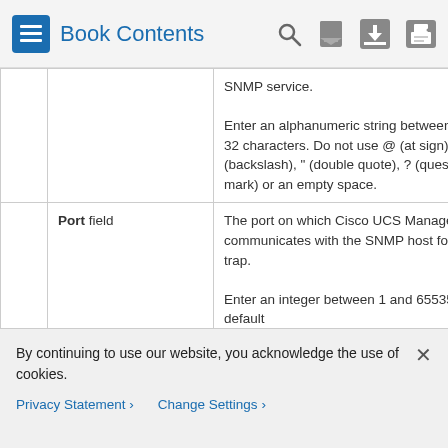Book Contents
|  | Field | Description |
| --- | --- | --- |
|  |  | SNMP service.
Enter an alphanumeric string between 1 and 32 characters. Do not use @ (at sign), \ (backslash), " (double quote), ? (question mark) or an empty space. |
|  | Port field | The port on which Cisco UCS Manager communicates with the SNMP host for the trap.
Enter an integer between 1 and 65535. The default |
By continuing to use our website, you acknowledge the use of cookies.
Privacy Statement > Change Settings >